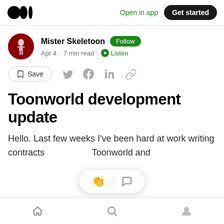Medium logo | Open in app | Get started
Mister Skeletoon  Follow
Apr 4 · 7 min read · Listen
Save (share icons: Twitter, Facebook, LinkedIn, link)
Toonworld development update
Hello. Last few weeks I've been hard at work writing contracts  Toonworld and
Home | Search | Profile